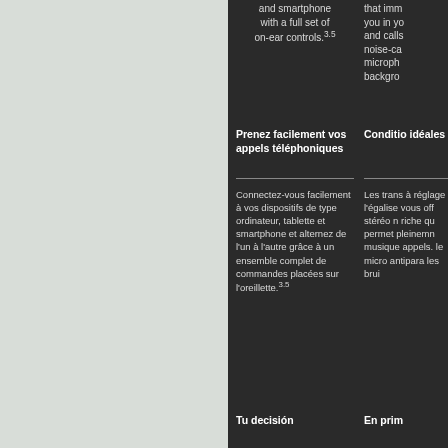and smartphone with a full set of on-ear controls.3,5
that imm you in yo and calls noise-ca microph backgro
Prenez facilement vos appels téléphoniques
Conditio idéales
Connectez-vous facilement à vos dispositifs de type ordinateur, tablette et smartphone et alternez de l'un à l'autre grâce à un ensemble complet de commandes placées sur l'oreillette.3,5
Les trans à réglage l'égalise vous off stéréo n riche qu permet pleinemn musique appels. le micro antipara les brui
Tu decisión
En prim